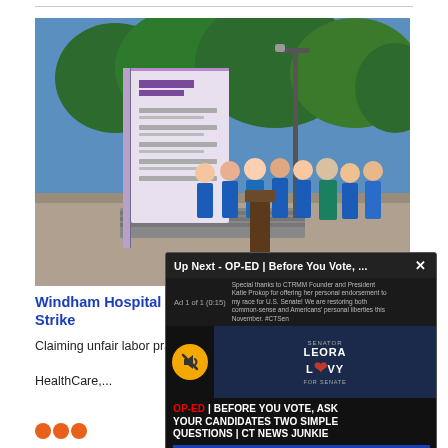[Figure (photo): Group of nurses and hospital workers in blue scrubs standing outside Windham Hospital sign, pressing for a strike.]
Windham Hospital Workers Strike
Claiming unfair labor practices against HealthCare,...
[Figure (screenshot): Video overlay panel: 'Up Next - OP-ED | Before You Vote, ...' with mute button, Leora Levy campaign ad thumbnail, and text 'OP-ED | BEFORE YOU VOTE, ASK YOUR CANDIDATES TWO SIMPLE QUESTIONS | CT NEWS JUNKIE']